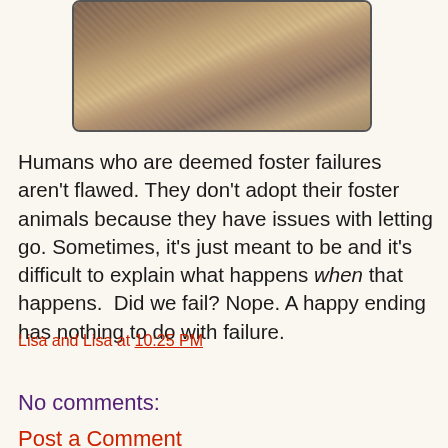[Figure (photo): Photo of a dog or cat resting on a bed with patterned quilt/bedding, warm tones, partially cropped]
Humans who are deemed foster failures aren't flawed. They don't adopt their foster animals because they have issues with letting go. Sometimes, it's just meant to be and it's difficult to explain what happens when that happens.  Did we fail? Nope. A happy ending has nothing to do with failure.
Lisa and Lisa at 10:25 PM
Share
No comments:
Post a Comment